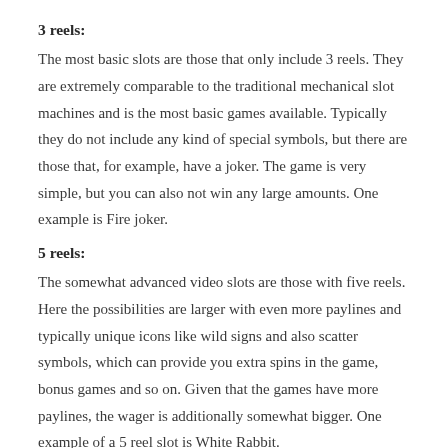3 reels:
The most basic slots are those that only include 3 reels. They are extremely comparable to the traditional mechanical slot machines and is the most basic games available. Typically they do not include any kind of special symbols, but there are those that, for example, have a joker. The game is very simple, but you can also not win any large amounts. One example is Fire joker.
5 reels:
The somewhat advanced video slots are those with five reels. Here the possibilities are larger with even more paylines and typically unique icons like wild signs and also scatter symbols, which can provide you extra spins in the game, bonus games and so on. Given that the games have more paylines, the wager is additionally somewhat bigger. One example of a 5 reel slot is White Rabbit.
Progressive Slots:
These slots contain progressive jackpots. This means that a